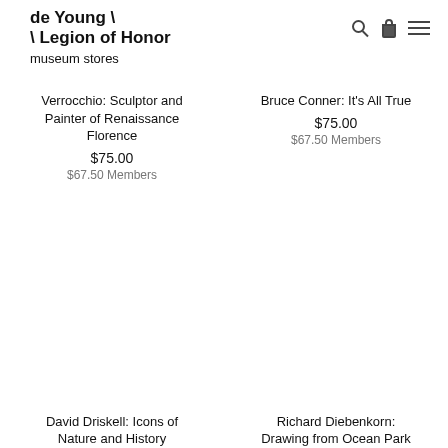de Young \ \ Legion of Honor museum stores
Verrocchio: Sculptor and Painter of Renaissance Florence
$75.00
$67.50 Members
Bruce Conner: It's All True
$75.00
$67.50 Members
David Driskell: Icons of Nature and History
Richard Diebenkorn: Drawing from Ocean Park